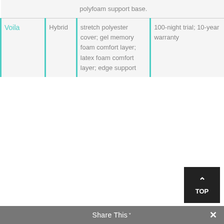| Name | Type | Features | Perks |
| --- | --- | --- | --- |
|  |  | polyfoam support base. |  |
| Voila | Hybrid | stretch polyester cover; gel memory foam comfort layer; latex foam comfort layer; edge support | 100-night trial; 10-year warranty |
Share This ✕